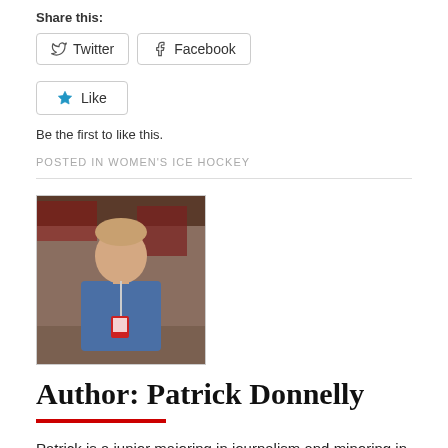Share this:
Twitter
Facebook
Like
Be the first to like this.
POSTED IN WOMEN'S ICE HOCKEY
[Figure (photo): Author photo of Patrick Donnelly, a young man in a blue shirt with a lanyard badge, standing indoors]
Author: Patrick Donnelly
Patrick is a junior majoring in journalism and minoring in public relations at Boston University's College of